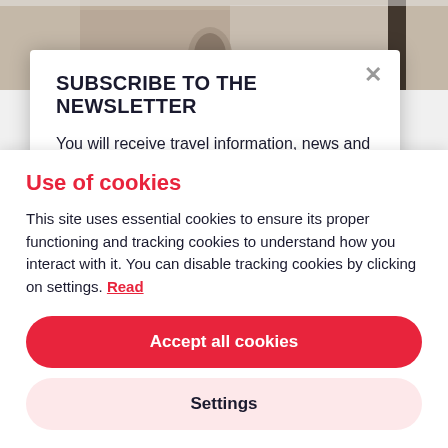[Figure (photo): Partial view of a stone building/church facade visible at the top of the page behind a newsletter modal overlay]
SUBSCRIBE TO THE NEWSLETTER
You will receive travel information, news and tips to travel to Umbria
Use of cookies
This site uses essential cookies to ensure its proper functioning and tracking cookies to understand how you interact with it. You can disable tracking cookies by clicking on settings. Read
Accept all cookies
Settings